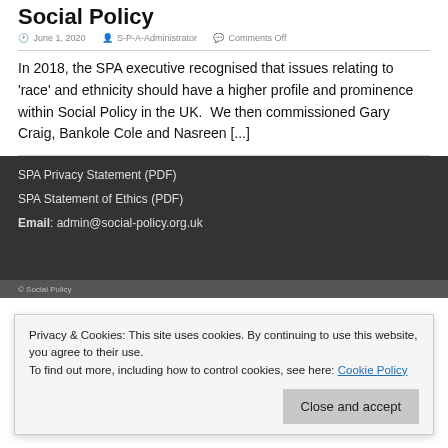Social Policy
June 1, 2020  S-P-A-Administrator  Comments Off
In 2018, the SPA executive recognised that issues relating to 'race' and ethnicity should have a higher profile and prominence within Social Policy in the UK.  We then commissioned Gary Craig, Bankole Cole and Nasreen [...]
SPA Privacy Statement (PDF)
SPA Statement of Ethics (PDF)
Email: admin@social-policy.org.uk
Privacy & Cookies: This site uses cookies. By continuing to use this website, you agree to their use.
To find out more, including how to control cookies, see here: Cookie Policy
Close and accept